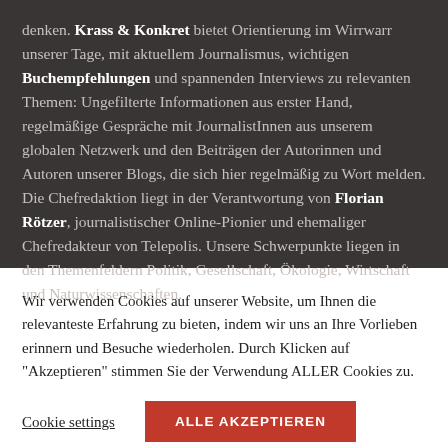denken. Krass & Konkret bietet Orientierung im Wirrwarr unserer Tage, mit aktuellem Journalismus, wichtigen Buchempfehlungen und spannenden Interviews zu relevanten Themen: Ungefilterte Informationen aus erster Hand, regelmäßige Gespräche mit JournalistInnen aus unserem globalen Netzwerk und den Beiträgen der Autorinnen und Autoren unserer Blogs, die sich hier regelmäßig zu Wort melden. Die Chefredaktion liegt in der Verantwortung von Florian Rötzer, journalistischer Online-Pionier und ehemaliger Chefredakteur von Telepolis. Unsere Schwerpunkte liegen in den Themenfeldern Politik, Gesellschaft, Ökologie, Wirtschaft und Naturwissenschaften.
Wir verwenden Cookies auf unserer Website, um Ihnen die relevanteste Erfahrung zu bieten, indem wir uns an Ihre Vorlieben erinnern und Besuche wiederholen. Durch Klicken auf "Akzeptieren" stimmen Sie der Verwendung ALLER Cookies zu.
Cookie settings
ALLE AKZEPTIEREN